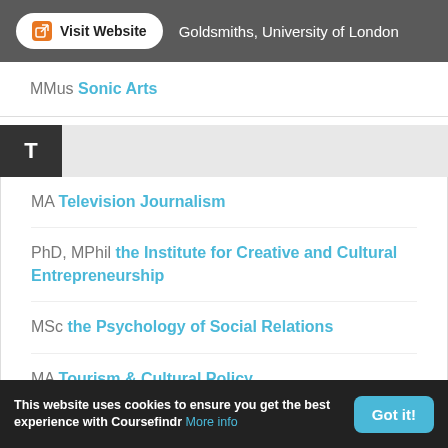Visit Website  Goldsmiths, University of London
MMus Sonic Arts
T
MA Television Journalism
PhD, MPhil the Institute for Creative and Cultural Entrepreneurship
MSc the Psychology of Social Relations
MA Tourism & Cultural Policy
This website uses cookies to ensure you get the best experience with Coursefindr More info  Got it!